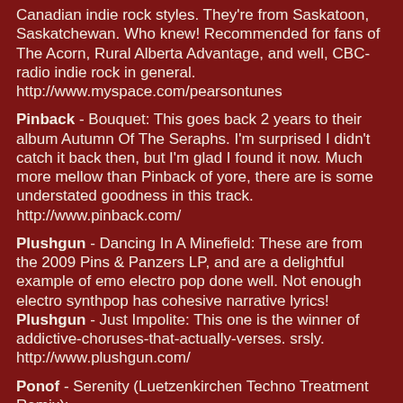Canadian indie rock styles. They're from Saskatoon, Saskatchewan. Who knew! Recommended for fans of The Acorn, Rural Alberta Advantage, and well, CBC-radio indie rock in general.
http://www.myspace.com/pearsontunes
Pinback - Bouquet: This goes back 2 years to their album Autumn Of The Seraphs. I'm surprised I didn't catch it back then, but I'm glad I found it now. Much more mellow than Pinback of yore, there are is some understated goodness in this track.
http://www.pinback.com/
Plushgun - Dancing In A Minefield: These are from the 2009 Pins & Panzers LP, and are a delightful example of emo electro pop done well. Not enough electro synthpop has cohesive narrative lyrics!
Plushgun - Just Impolite: This one is the winner of addictive-choruses-that-actually-verses. srsly.
http://www.plushgun.com/
Ponof - Serenity (Luetzenkirchen Techno Treatment Remix):